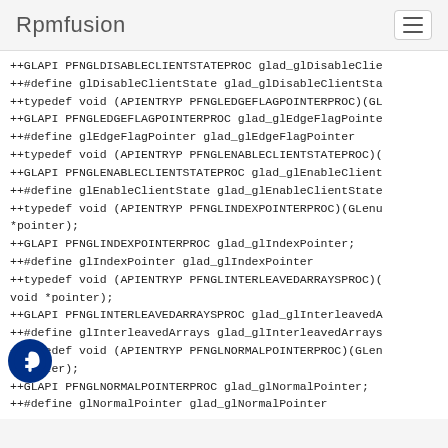Rpmfusion
++GLAPI PFNGLDISABLECLIENTSTATEPROC glad_glDisableClientSta...
++#define glDisableClientState glad_glDisableClientSta...
++typedef void (APIENTRYP PFNGLEDGEFLAGPOINTERPROC)(GL...
++GLAPI PFNGLEDGEFLAGPOINTERPROC glad_glEdgeFlagPointe...
++#define glEdgeFlagPointer glad_glEdgeFlagPointer
++typedef void (APIENTRYP PFNGLENABLECLIENTSTATEPROC)(...
++GLAPI PFNGLENABLECLIENTSTATEPROC glad_glEnableClient...
++#define glEnableClientState glad_glEnableClientState
++typedef void (APIENTRYP PFNGLINDEXPOINTERPROC)(GLenu...
*pointer);
++GLAPI PFNGLINDEXPOINTERPROC glad_glIndexPointer;
++#define glIndexPointer glad_glIndexPointer
++typedef void (APIENTRYP PFNGLINTERLEAVEDARRAYSPROC)(...
void *pointer);
++GLAPI PFNGLINTERLEAVEDARRAYSPROC glad_glInterleavedA...
++#define glInterleavedArrays glad_glInterleavedArrays...
++typedef void (APIENTRYP PFNGLNORMALPOINTERPROC)(GLen...
*pointer);
++GLAPI PFNGLNORMALPOINTERPROC glad_glNormalPointer;
++#define glNormalPointer glad_glNormalPointer